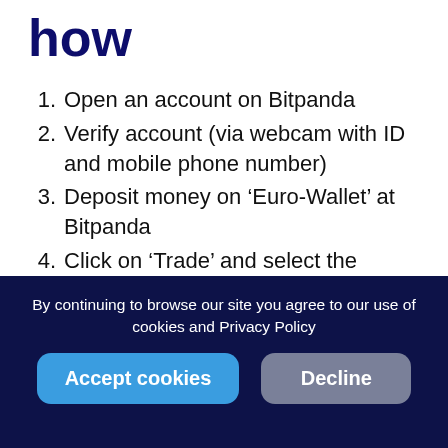how
Open an account on Bitpanda
Verify account (via webcam with ID and mobile phone number)
Deposit money on ‘Euro-Wallet’ at Bitpanda
Click on ‘Trade’ and select the desired coin
By continuing to browse our site you agree to our use of cookies and Privacy Policy